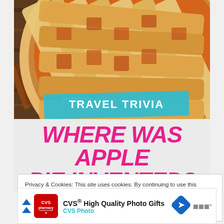[Figure (photo): Close-up photo of a golden-brown lattice-top apple pie on a wooden surface with cinnamon sticks]
TRAVEL TRIVIA
WHERE WAS APPLE PIE INVENTED?
Privacy & Cookies: This site uses cookies. By continuing to use this website, you agree to their use.
To find out more, including how to control cookies, see here:
Cookie Policy
[Figure (infographic): CVS High Quality Photo Gifts - CVS Photo advertisement banner]